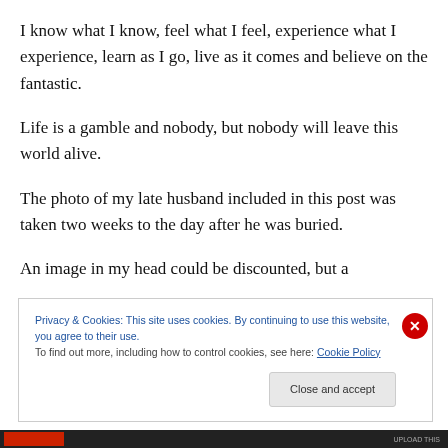I know what I know, feel what I feel, experience what I experience, learn as I go, live as it comes and believe on the fantastic.
Life is a gamble and nobody, but nobody will leave this world alive.
The photo of my late husband included in this post was taken two weeks to the day after he was buried.
An image in my head could be discounted, but a
Privacy & Cookies: This site uses cookies. By continuing to use this website, you agree to their use.
To find out more, including how to control cookies, see here: Cookie Policy